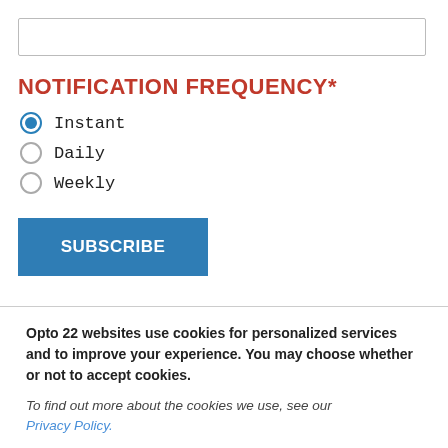[Figure (screenshot): Text input box (empty form field)]
NOTIFICATION FREQUENCY*
Instant (selected)
Daily
Weekly
[Figure (screenshot): SUBSCRIBE button]
Opto 22 websites use cookies for personalized services and to improve your experience. You may choose whether or not to accept cookies.
To find out more about the cookies we use, see our Privacy Policy.
[Figure (screenshot): No problem. and I'd rather not. buttons]